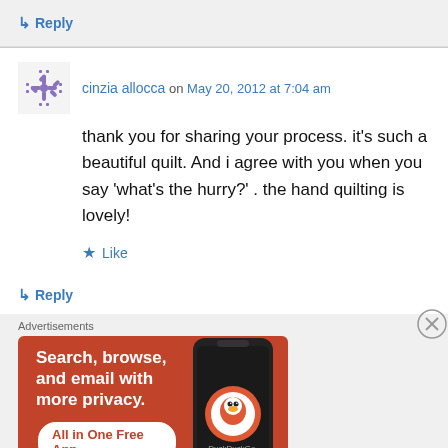↳ Reply
cinzia allocca on May 20, 2012 at 7:04 am
thank you for sharing your process. it's such a beautiful quilt. And i agree with you when you say 'what's the hurry?' . the hand quilting is lovely!
★ Like
↳ Reply
Advertisements
[Figure (screenshot): DuckDuckGo advertisement banner: orange background with white text 'Search, browse, and email with more privacy. All in One Free App' and a phone image with DuckDuckGo logo]